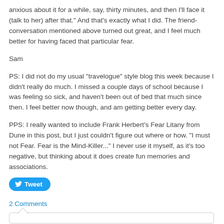anxious about it for a while, say, thirty minutes, and then I'll face it (talk to her) after that.” And that’s exactly what I did. The friend-conversation mentioned above turned out great, and I feel much better for having faced that particular fear.
Sam
PS: I did not do my usual “travelogue” style blog this week because I didn’t really do much. I missed a couple days of school because I was feeling so sick, and haven’t been out of bed that much since then. I feel better now though, and am getting better every day.
PPS: I really wanted to include Frank Herbert's Fear Litany from Dune in this post, but I just couldn't figure out where or how. "I must not Fear. Fear is the Mind-Killer..." I never use it myself, as it's too negative, but thinking about it does create fun memories and associations.
Tweet
2 Comments